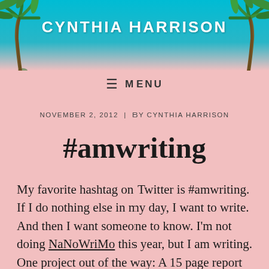[Figure (illustration): Website header banner with tropical palm trees on each side against a teal/cyan sky background, with the text CYNTHIA HARRISON in white bold uppercase letters centered in the middle]
≡  MENU
NOVEMBER 2, 2012  |  BY CYNTHIA HARRISON
#amwriting
My favorite hashtag on Twitter is #amwriting. If I do nothing else in my day, I want to write. And then I want someone to know. I'm not doing NaNoWriMo this year, but I am writing. One project out of the way: A 15 page report on how to put together a writer's conference that DWW members requested I write. I didn't want to do it.